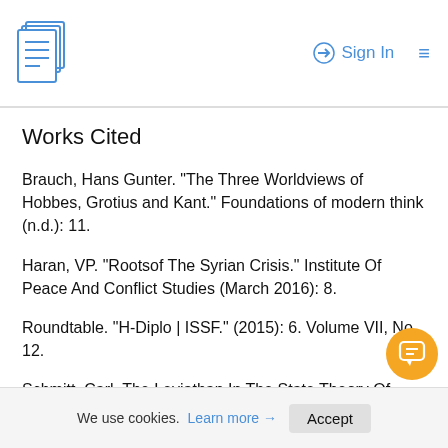Sign In
Works Cited
Brauch, Hans Gunter. "The Three Worldviews of Hobbes, Grotius and Kant." Foundations of modern think (n.d.): 11.
Haran, VP. "Rootsof The Syrian Crisis." Institute Of Peace And Conflict Studies (March 2016): 8.
Roundtable. "H-Diplo | ISSF." (2015): 6. Volume VII, No 12.
Schmitt, Carl. The Leviathan In The State Theory Of Thomas Hobbes. London: GreenWood Pre... 1996: 30.
We use cookies. Learn more → Accept